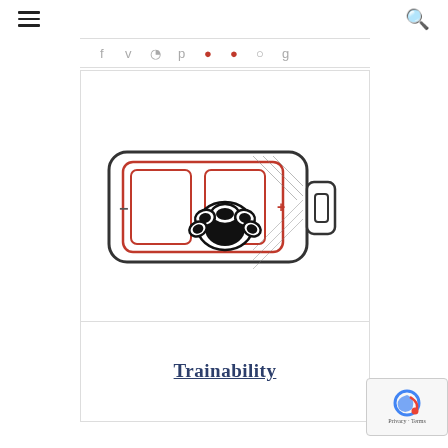☰  🔍
[Figure (illustration): Navigation strip with social/share icons including red highlighted icons]
Energy Level
[Figure (illustration): Battery icon with paw print inside, partially charged with red fill lines indicating energy level, minus sign on left end and plus sign on right end]
Trainability